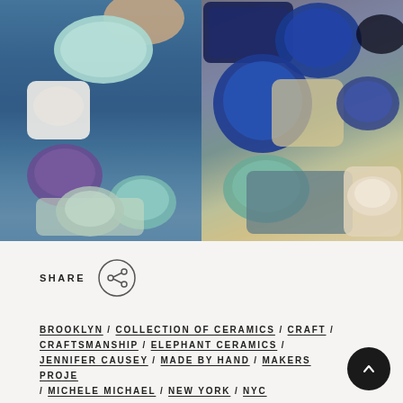[Figure (photo): Two side-by-side photos of a ceramic collection featuring bowls, plates, and platters in various shades of blue, teal, and cream arranged on blue denim fabric (left) and natural linen (right). A hand is visible in the left photo arranging the ceramics.]
SHARE
BROOKLYN / COLLECTION OF CERAMICS / CRAFT / CRAFTSMANSHIP / ELEPHANT CERAMICS / JENNIFER CAUSEY / MADE BY HAND / MAKERS PROJECT / MICHELE MICHAEL / NEW YORK / NYC